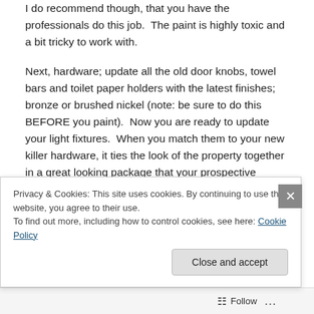I do recommend though, that you have the professionals do this job.  The paint is highly toxic and a bit tricky to work with.
Next, hardware; update all the old door knobs, towel bars and toilet paper holders with the latest finishes; bronze or brushed nickel (note: be sure to do this BEFORE you paint).  Now you are ready to update your light fixtures.  When you match them to your new killer hardware, it ties the look of the property together in a great looking package that your prospective tenants will love.  Our experience is that the big box stores are your best
Privacy & Cookies: This site uses cookies. By continuing to use this website, you agree to their use.
To find out more, including how to control cookies, see here: Cookie Policy
Close and accept
Follow